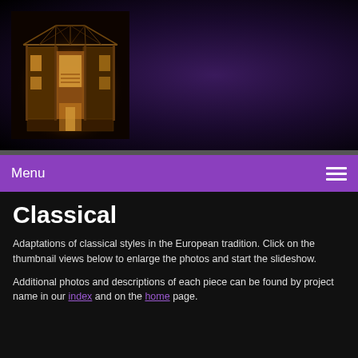[Figure (photo): Illuminated architectural scale model of a building with glass and wood frame structure, lit from inside, photographed against dark background]
Menu
Classical
Adaptations of classical styles in the European tradition. Click on the thumbnail views below to enlarge the photos and start the slideshow.
Additional photos and descriptions of each piece can be found by project name in our index and on the home page.